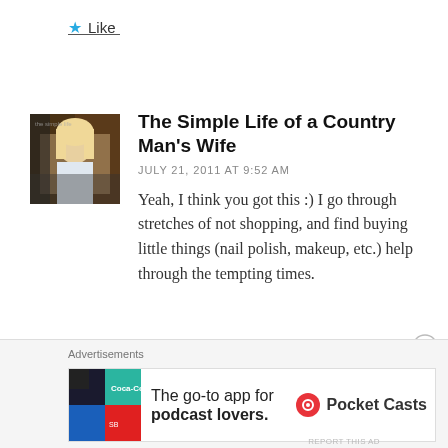Like
[Figure (photo): Avatar/thumbnail photo of a woman on a vintage-style image]
The Simple Life of a Country Man's Wife
JULY 21, 2011 AT 9:52 AM
Yeah, I think you got this :) I go through stretches of not shopping, and find buying little things (nail polish, makeup, etc.) help through the tempting times.
Like
Advertisements
[Figure (screenshot): Pocket Casts advertisement: The go-to app for podcast lovers.]